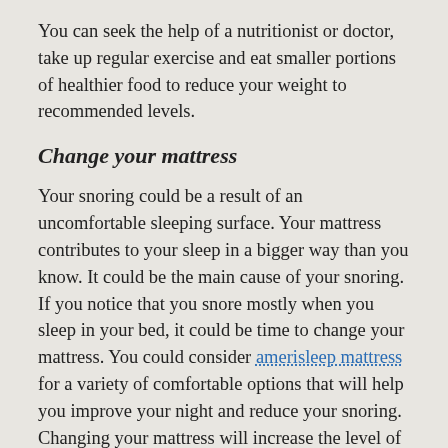You can seek the help of a nutritionist or doctor, take up regular exercise and eat smaller portions of healthier food to reduce your weight to recommended levels.
Change your mattress
Your snoring could be a result of an uncomfortable sleeping surface. Your mattress contributes to your sleep in a bigger way than you know. It could be the main cause of your snoring. If you notice that you snore mostly when you sleep in your bed, it could be time to change your mattress. You could consider amerisleep mattress for a variety of comfortable options that will help you improve your night and reduce your snoring. Changing your mattress will increase the level of comfort in your bedroom and facilitate a better night's rest.